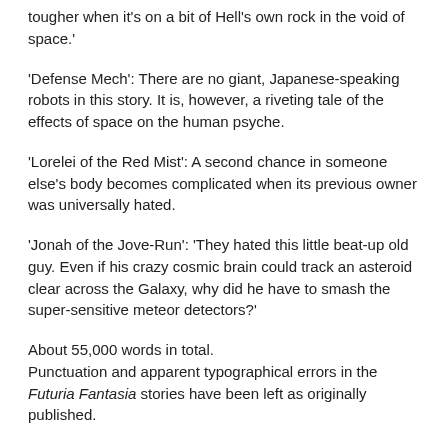tougher when it's on a bit of Hell's own rock in the void of space.'
'Defense Mech': There are no giant, Japanese-speaking robots in this story. It is, however, a riveting tale of the effects of space on the human psyche.
'Lorelei of the Red Mist': A second chance in someone else's body becomes complicated when its previous owner was universally hated.
'Jonah of the Jove-Run': 'They hated this little beat-up old guy. Even if his crazy cosmic brain could track an asteroid clear across the Galaxy, why did he have to smash the super-sensitive meteor detectors?'
About 55,000 words in total.
Punctuation and apparent typographical errors in the Futuria Fantasia stories have been left as originally published.
'Don't Get Technatal' (as Ron Reynolds) Futuria Fantasia (1939)